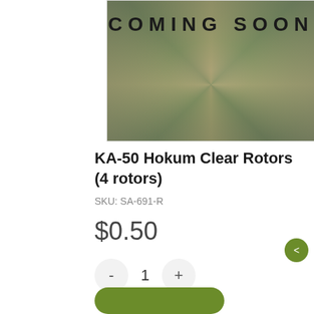[Figure (photo): Coming Soon product image with swirling blurred background in green/olive/brown tones with 'COMING SOON' text overlay in large spaced uppercase letters]
KA-50 Hokum Clear Rotors (4 rotors)
SKU: SA-691-R
$0.50
- 1 +